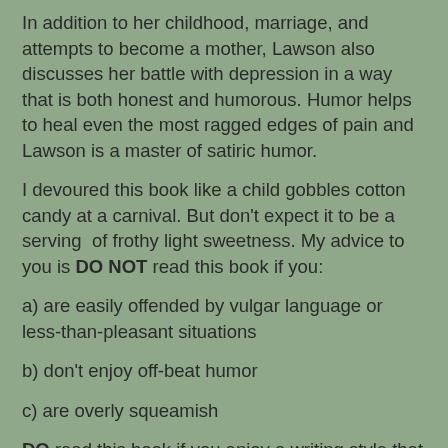In addition to her childhood, marriage, and attempts to become a mother, Lawson also discusses her battle with depression in a way that is both honest and humorous. Humor helps to heal even the most ragged edges of pain and Lawson is a master of satiric humor.
I devoured this book like a child gobbles cotton candy at a carnival. But don't expect it to be a serving  of frothy light sweetness. My advice to you is DO NOT read this book if you:
a) are easily offended by vulgar language or less-than-pleasant situations
b) don't enjoy off-beat humor
c) are overly squeamish
DO read this book if you enjoy a writing style that may ramble around the block a bit, but is laugh-out-loud funny. I read it on an airplane. My seat-mates looked at me in horror when I nearly snorted my soda out my nose (more